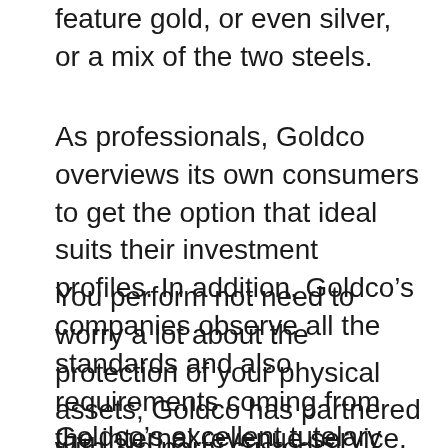feature gold, or even silver, or a mix of the two steels.
As professionals, Goldco overviews its own consumers to get the option that ideal suits their investment profiles. In addition, Goldco's companies observe all the standards and also requirements coming from the internal revenue service.
You perform not need to worry a lot about the protection of your physical assets; Goldco has partnered with 3rd party custodial providers to hoard clients' rare-earth elements in ultra-modern vaults in key places around the nation.
Goldco's excellent tutelary provider for gold